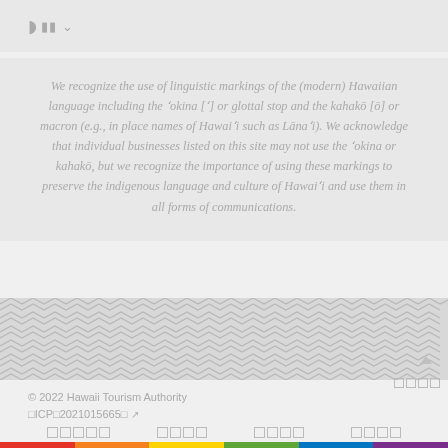🌐 □□ ∨
We recognize the use of linguistic markings of the (modern) Hawaiian language including the ʻokina [ʻ] or glottal stop and the kahakō [ō] or macron (e.g., in place names of Hawaiʻi such as Lānaʻi). We acknowledge that individual businesses listed on this site may not use the ʻokina or kahakō, but we recognize the importance of using these markings to preserve the indigenous language and culture of Hawaiʻi and use them in all forms of communications.
[Figure (illustration): Repeating chevron/zigzag pattern decorative band in grey]
© 2022 Hawaii Tourism Authority
□ICP□2021015665□
□□□□□  □□□□  □□□□  □□□□